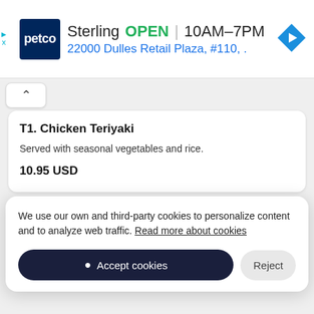[Figure (screenshot): Petco advertisement banner showing Sterling location, OPEN status, hours 10AM-7PM, address 22000 Dulles Retail Plaza #110, with navigation arrow icon]
T1. Chicken Teriyaki
Served with seasonal vegetables and rice.
10.95 USD
T8. Shrimp Teriyaki
We use our own and third-party cookies to personalize content and to analyze web traffic. Read more about cookies
Accept cookies
Reject